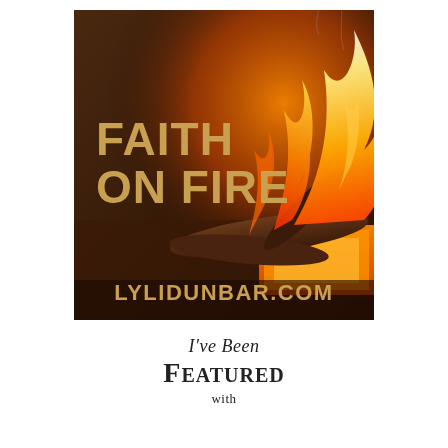[Figure (illustration): Book or podcast cover image showing a fireplace with burning logs and flames on a dark brownish background. Bold golden/tan text reads 'FAITH ON FIRE' on the left side, and below that in large golden text 'LYLIDUNBAR.COM'.]
I've Been Featured with